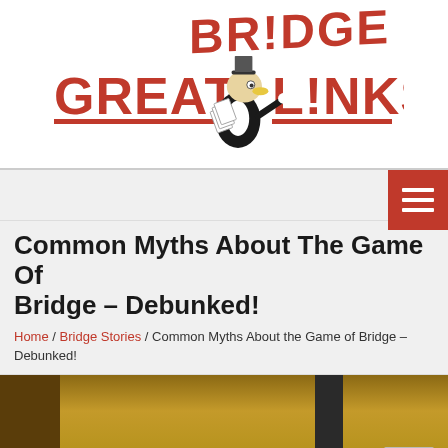[Figure (logo): Great Bridge Links logo with red text and cartoon magician duck character in black and white]
Common Myths About The Game Of Bridge – Debunked!
Home / Bridge Stories / Common Myths About the Game of Bridge – Debunked!
[Figure (photo): Interior room photo with wooden panels and dark vertical element, warm tan/brown tones]